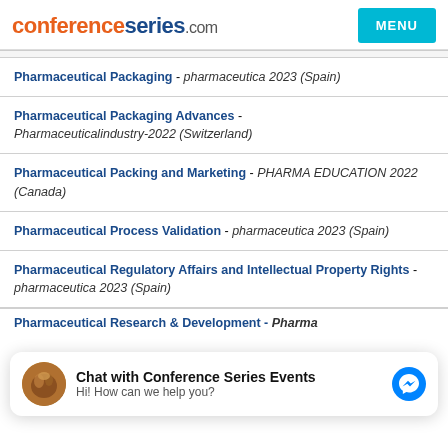conferenceseries.com | MENU
Pharmaceutical Packaging - pharmaceutica 2023 (Spain)
Pharmaceutical Packaging Advances - Pharmaceuticalindustry-2022 (Switzerland)
Pharmaceutical Packing and Marketing - PHARMA EDUCATION 2022 (Canada)
Pharmaceutical Process Validation - pharmaceutica 2023 (Spain)
Pharmaceutical Regulatory Affairs and Intellectual Property Rights - pharmaceutica 2023 (Spain)
[Figure (other): Chat widget: Chat with Conference Series Events. Hi! How can we help you? With messenger icon.]
Pharmaceutical Research & Development - Pharma